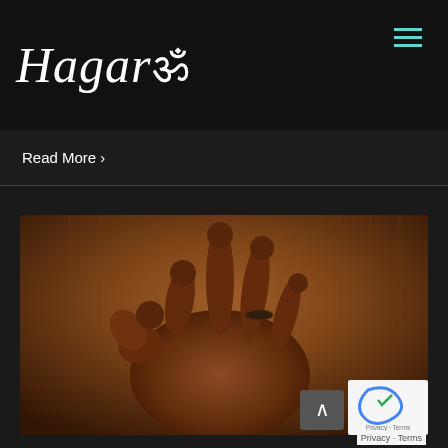Hagar ॐ
Read More >
[Figure (photo): A hand forming a mudra (yoga hand gesture) with fingers spread, ring visible on ring finger, warm orange-brown lighting against a wooden background.]
Privacy · Terms